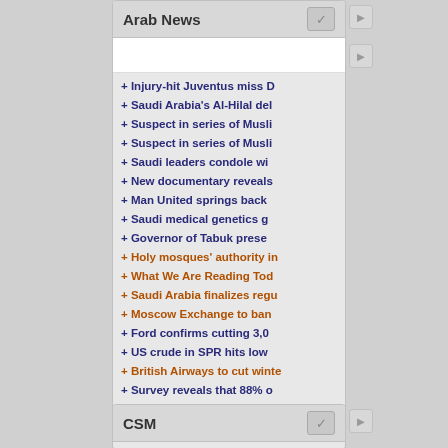Arab News
+ Injury-hit Juventus miss D
+ Saudi Arabia's Al-Hilal del
+ Suspect in series of Musli
+ Suspect in series of Musli
+ Saudi leaders condole wi
+ New documentary reveals
+ Man United springs back
+ Saudi medical genetics g
+ Governor of Tabuk prese
+ Holy mosques' authority in
+ What We Are Reading Tod
+ Saudi Arabia finalizes regu
+ Moscow Exchange to ban
+ Ford confirms cutting 3,0
+ US crude in SPR hits low
+ British Airways to cut winte
+ Survey reveals that 88% o
+ Canada exploring feasibil
+ Saudi budget airline launc
+ Quality medical care for K
show more ...
see all...
As of 8/23/22 4:30am. Last new 8/23/22 1:51am.
CSM